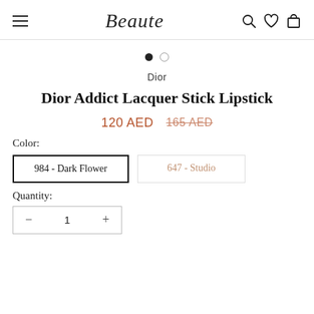Beaute
[Figure (other): Carousel dots: one filled (active), one empty]
Dior
Dior Addict Lacquer Stick Lipstick
120 AED  165 AED (strikethrough)
Color:
984 - Dark Flower  |  647 - Studio
Quantity:
− 1 +